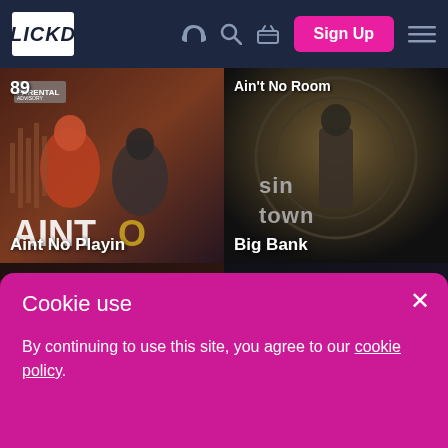[Figure (screenshot): Lickd music licensing website screenshot showing navbar with LICKD logo, headphones icon, search icon, basket icon, Sign Up button, hamburger menu, and two rows of music album cards: '89' / 'Ain't No Room' in top row, 'Aint No Playin' / 'Big Bank' in bottom row, with a cookie consent banner overlaid at the bottom.]